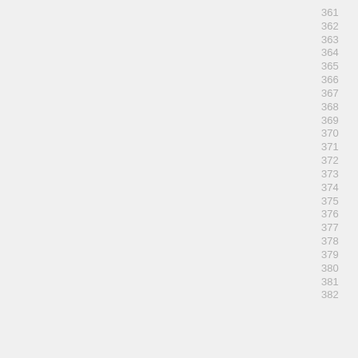361
362
363
364
365
366
367
368
369
370
371
372
373
374
375
376
377
378
379
380
381
382